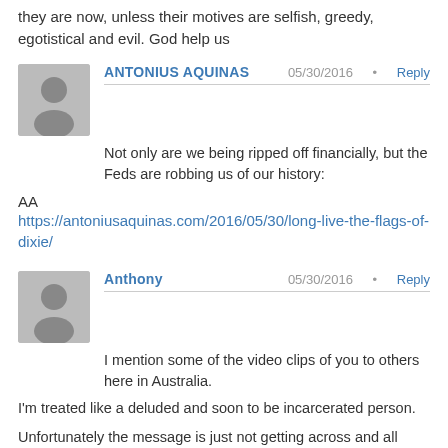they are now, unless their motives are selfish, greedy, egotistical and evil. God help us
ANTONIUS AQUINAS   05/30/2016  •  Reply
Not only are we being ripped off financially, but the Feds are robbing us of our history:
AA
https://antoniusaquinas.com/2016/05/30/long-live-the-flags-of-dixie/
Anthony   05/30/2016  •  Reply
I mention some of the video clips of you to others here in Australia.
I'm treated like a deluded and soon to be incarcerated person.
Unfortunately the message is just not getting across and all daily attention is on the hopeful ASX!